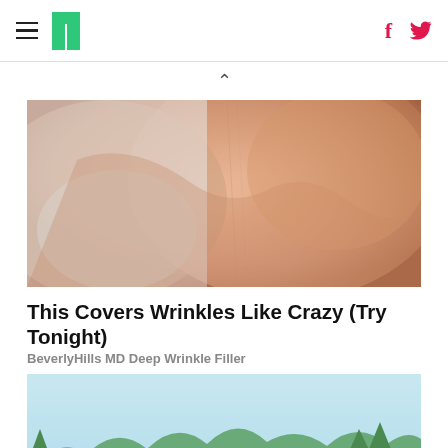HuffPost navigation with hamburger menu, logo, Facebook and Twitter icons
^
[Figure (photo): Close-up photo of a person touching their face/cheek, skin texture visible, person wearing white top with a bracelet]
This Covers Wrinkles Like Crazy (Try Tonight)
BeverlyHills MD Deep Wrinkle Filler
[Figure (illustration): Illustration of two older adults in orange life vests standing on paddleboards on a lake with a dog between them, forest background, both holding paddles]